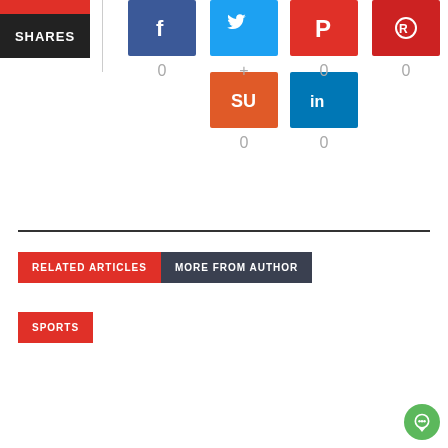[Figure (infographic): Social share counter widget showing SHARES label in black box with red top bar, and social media icons (Facebook, Twitter, Pinterest, Reddit, StumbleUpon, LinkedIn) each showing 0 or + share counts]
0
+
0
0
0
0
RELATED ARTICLES
MORE FROM AUTHOR
SPORTS